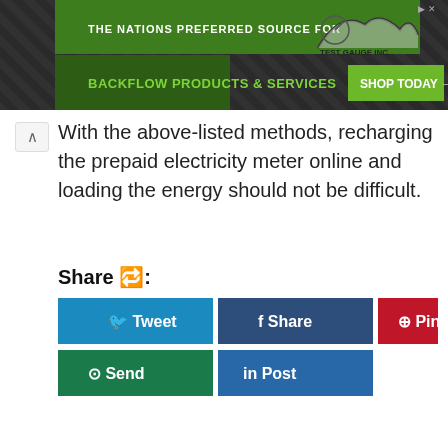[Figure (other): Advertisement banner for Test Gauge Inc. with green branding and 'BACKFLOW PRODUCTS & SERVICES' text, Shop Today button]
With the above-listed methods, recharging the prepaid electricity meter online and loading the energy should not be difficult.
Share 🔁:
[Figure (other): Social sharing buttons: Tweet (blue), Share (dark blue), Pin (red), Send (green), Post (LinkedIn blue)]